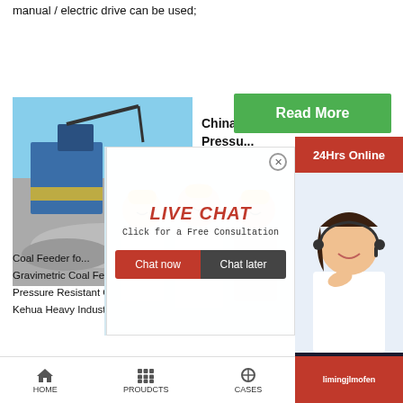manual / electric drive can be used;
[Figure (photo): Industrial machinery / coal feeder equipment at a plant site with blue equipment and gravel]
[Figure (photo): Team photo of workers in yellow hard hats at an industrial facility]
[Figure (photo): Customer service agent (woman with headset, smiling)]
Read More
24Hrs Online
China Njgc Pressu...
LIVE CHAT
Click for a Free Consultation
Chat now
Chat later
Coal Feeder fo... Gravimetric Coal Feeder, Njgc Pressure Coal Fee... Pressure Resistant Coal Feeder for Power Plant – Kehua Heavy Industry Science and Technology C...
Need questions & suggestion?
Chat Now
Enquiry
limingjlmofen
HOME   PROUDCTS   CASES   limingjlmofen